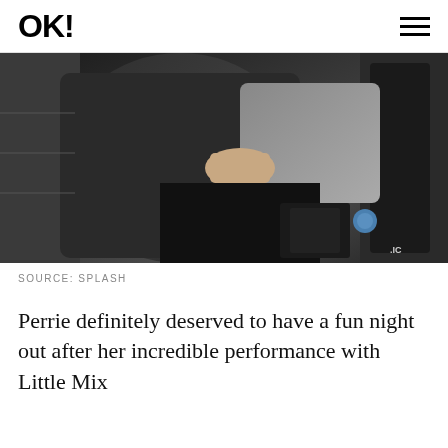OK!
[Figure (photo): Photo of people getting into or out of a car, dark clothing, interior of vehicle visible. Source: Splash]
SOURCE: SPLASH
Perrie definitely deserved to have a fun night out after her incredible performance with Little Mix